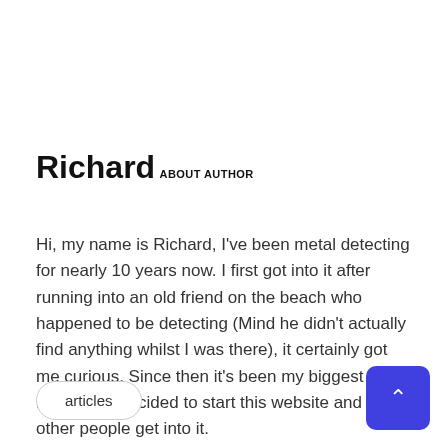Richard
ABOUT AUTHOR
Hi, my name is Richard, I've been metal detecting for nearly 10 years now. I first got into it after running into an old friend on the beach who happened to be detecting (Mind he didn't actually find anything whilst I was there), it certainly got me curious. Since then it's been my biggest hobby so I decided to start this website and help other people get into it.
articles